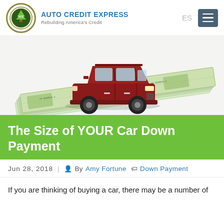AUTO CREDIT EXPRESS — Rebuilding America's Credit
[Figure (photo): A red toy SUV car sitting on top of fanned-out US dollar bills, on a white background. The bills extend diagonally from lower left to upper right.]
The Size of YOUR Car Down Payment
Jun 28, 2018  |  By Amy Fortune  Down Payment
If you are thinking of buying a car, there may be a number of